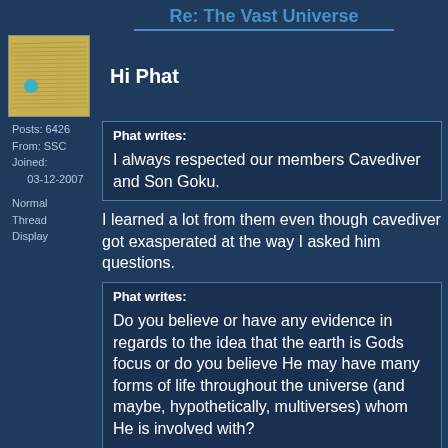Re: The Vast Universe
Hi Phat
Posts: 6426
From: SSC
Joined:
      03-12-2007
Phat writes:

I always respected our members Cavediver and Son Goku.
I learned a lot from them even though cavediver got exasperated at the way I asked him questions.
Phat writes:

Do you believe or have any evidence in regards to the idea that the earth is Gods focus or do you believe He may have many forms of life throughout the universe (and maybe, hypothetically, multiverses) whom He is involved with?
There is no mention of such in the Bible of
Normal
Thread
Display